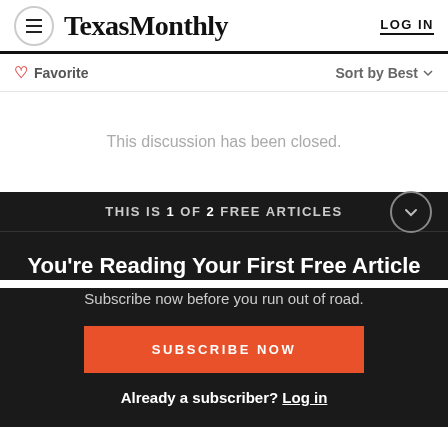Texas Monthly  LOG IN
♡ Favorite   Sort by Best
This discussion has been closed.
THIS IS 1 OF 2 FREE ARTICLES
You're Reading Your First Free Article
Subscribe now before you run out of road.
SUBSCRIBE NOW
Already a subscriber? Log in